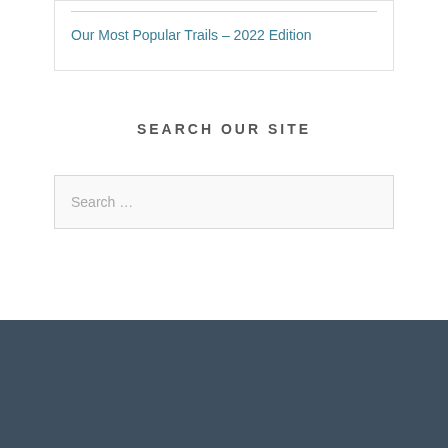Our Most Popular Trails – 2022 Edition
SEARCH OUR SITE
Search …
SEARCH OUR SITE